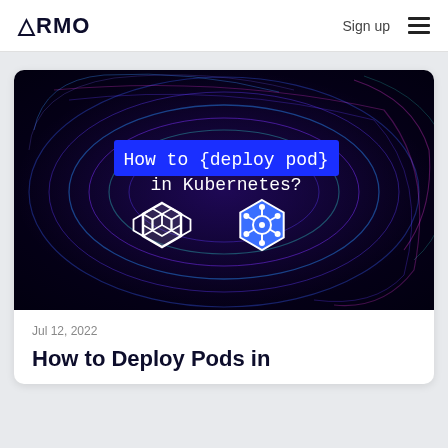ARMO  Sign up
[Figure (screenshot): Dark background with swirling neon blue and purple circular light trails. Center text reads 'How to {deploy pod} in Kubernetes?' with a honeycomb/Kubernetes logos below.]
Jul 12, 2022
How to Deploy Pods in